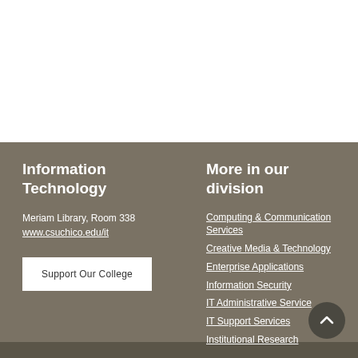Information Technology
Meriam Library, Room 338
www.csuchico.edu/it
Support Our College
More in our division
Computing & Communication Services
Creative Media & Technology
Enterprise Applications
Information Security
IT Administrative Service
IT Support Services
Institutional Research